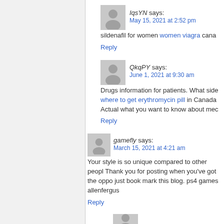IqsYN says:
May 15, 2021 at 2:52 pm
sildenafil for women women viagra cana...
Reply
QkqPY says:
June 1, 2021 at 9:30 am
Drugs information for patients. What side... where to get erythromycin pill in Canada... Actual what you want to know about mec...
Reply
gamefly says:
March 15, 2021 at 4:21 am
Your style is so unique compared to other peopl... Thank you for posting when you've got the oppo... just book mark this blog. ps4 games allenfergus...
Reply